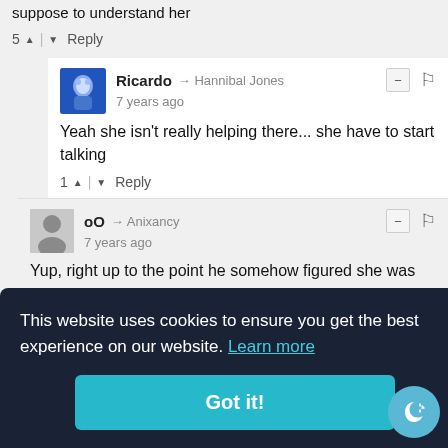suppose to understand her
5 ▲ | ▼ Reply
Ricardo → Hannibal Jones
7 years ago
Yeah she isn't really helping there... she have to start talking
1 ▲ | ▼ Reply
oO → Anixancy
7 years ago
Yup, right up to the point he somehow figured she was super evil with his retarded thinking.
1 ▲ | ▼ Reply
This website uses cookies to ensure you get the best experience on our website. Learn more
Got it!